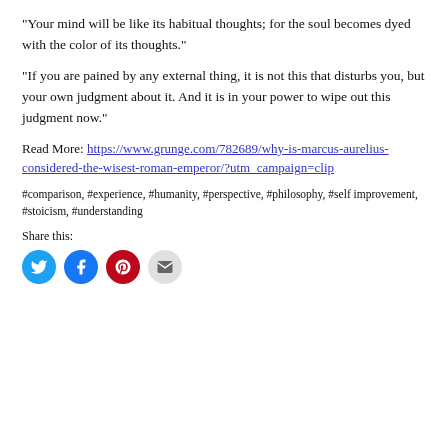“Your mind will be like its habitual thoughts; for the soul becomes dyed with the color of its thoughts.”
“If you are pained by any external thing, it is not this that disturbs you, but your own judgment about it. And it is in your power to wipe out this judgment now.”
Read More: https://www.grunge.com/782689/why-is-marcus-aurelius-considered-the-wisest-roman-emperor/?utm_campaign=clip
#comparison, #experience, #humanity, #perspective, #philosophy, #self improvement, #stoicism, #understanding
Share this: